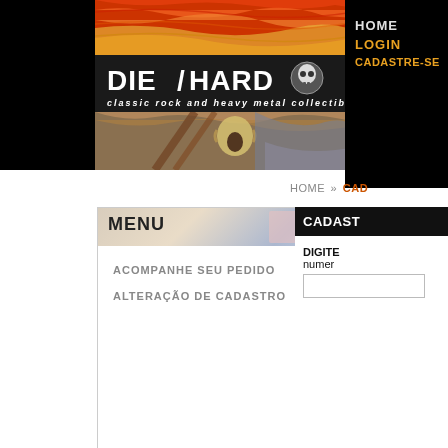[Figure (screenshot): Die Hard classic rock and heavy metal collectibles website screenshot showing The Scream painting banner, logo, navigation links (HOME, LOGIN, CADASTRE-SE), menu panel with ACOMPANHE SEU PEDIDO and ALTERAÇÃO DE CADASTRO links, and CADASTR panel on the right with DIGITE numero field.]
HOME LOGIN CADASTRE-SE
DIE HARD classic rock and heavy metal collectibles
HOME » CAD
MENU
ACOMPANHE SEU PEDIDO
ALTERAÇÃO DE CADASTRO
CADAST
DIGITE numer